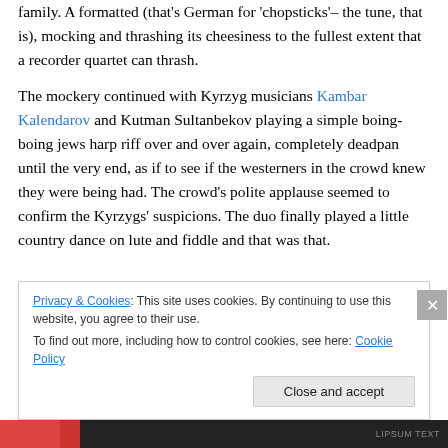amily. A formatted (that's German for 'chopsticks'– the tune, that is), mocking and thrashing its cheesiness to the fullest extent that a recorder quartet can thrash.
The mockery continued with Kyrzyg musicians Kambar Kalendarov and Kutman Sultanbekov playing a simple boing-boing jews harp riff over and over again, completely deadpan until the very end, as if to see if the westerners in the crowd knew they were being had. The crowd's polite applause seemed to confirm the Kyrzygs' suspicions. The duo finally played a little country dance on lute and fiddle and that was that.
Privacy & Cookies: This site uses cookies. By continuing to use this website, you agree to their use. To find out more, including how to control cookies, see here: Cookie Policy
Close and accept